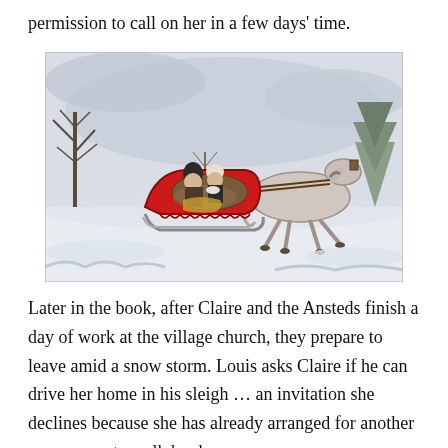permission to call on her in a few days' time.
[Figure (illustration): A vintage illustration of a horse-drawn sleigh in a winter snow scene. Two passengers (a man and a woman) ride in a bright red sleigh pulled by a galloping white horse through a snowy landscape with bare trees in the background.]
Later in the book, after Claire and the Ansteds finish a day of work at the village church, they prepare to leave amid a snow storm. Louis asks Claire if he can drive her home in his sleigh … an invitation she declines because she has already arranged for another young man to walk her home: